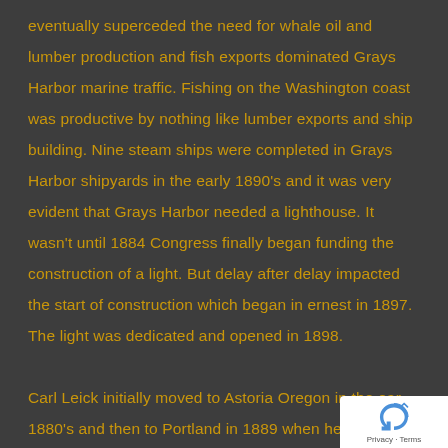eventually superceded the need for whale oil and lumber production and fish exports dominated Grays Harbor marine traffic. Fishing on the Washington coast was productive by nothing like lumber exports and ship building. Nine steam ships were completed in Grays Harbor shipyards in the early 1890's and it was very evident that Grays Harbor needed a lighthouse. It wasn't until 1884 Congress finally began funding the construction of a light. But delay after delay impacted the start of construction which began in ernest in 1897. The light was dedicated and opened in 1898.

Carl Leick initially moved to Astoria Oregon in the early 1880's and then to Portland in 1889 when he began wo
[Figure (other): reCAPTCHA badge with circular arrow icon and 'Privacy - Terms' text]